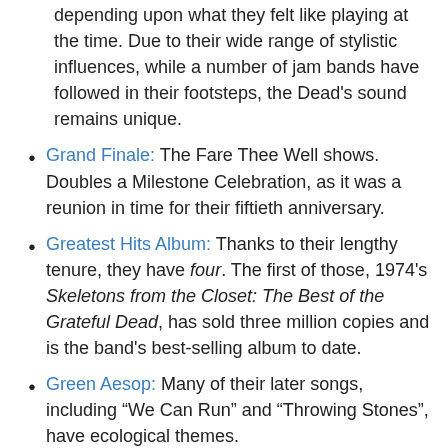depending upon what they felt like playing at the time. Due to their wide range of stylistic influences, while a number of jam bands have followed in their footsteps, the Dead's sound remains unique.
Grand Finale: The Fare Thee Well shows. Doubles a Milestone Celebration, as it was a reunion in time for their fiftieth anniversary.
Greatest Hits Album: Thanks to their lengthy tenure, they have four. The first of those, 1974's Skeletons from the Closet: The Best of the Grateful Dead, has sold three million copies and is the band's best-selling album to date.
Green Aesop: Many of their later songs, including “We Can Run” and “Throwing Stones”, have ecological themes.
Grief Song: “Birdsong” (for Janis Joplin, later modified to be about Jerry in the Fare The Well shows), “Cassidy” (for Neal Cassidy, an early friend of the band), and “Box of Rain” (for Phil Lesh’s father).